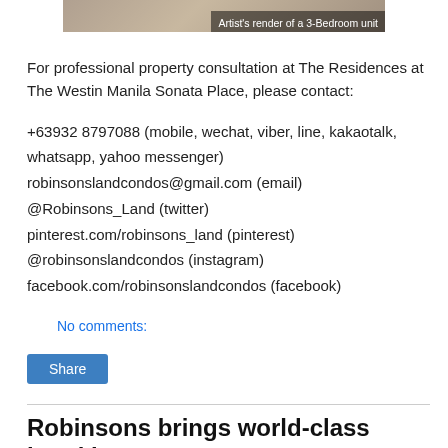[Figure (photo): Partial image of a 3-Bedroom unit interior with caption overlay: Artist's render of a 3-Bedroom unit]
For professional property consultation at The Residences at The Westin Manila Sonata Place, please contact:
+63932 8797088 (mobile, wechat, viber, line, kakaotalk, whatsapp, yahoo messenger)
robinsonslandcondos@gmail.com (email)
@Robinsons_Land (twitter)
pinterest.com/robinsons_land (pinterest)
@robinsonslandcondos (instagram)
facebook.com/robinsonslandcondos (facebook)
No comments:
Share
Robinsons brings world-class hotel into